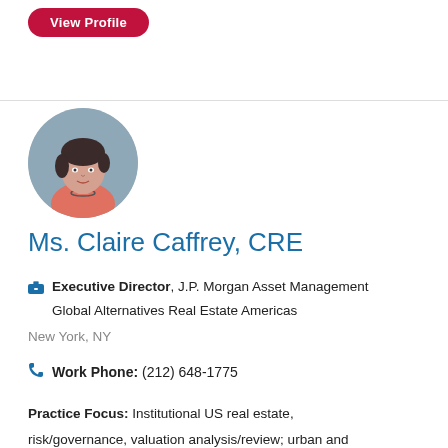[Figure (other): Red rounded rectangle button labeled 'View Profile' in white text]
[Figure (photo): Circular profile photo of Ms. Claire Caffrey, a woman with dark hair wearing a coral/pink top and necklace]
Ms. Claire Caffrey, CRE
Executive Director, J.P. Morgan Asset Management Global Alternatives Real Estate Americas
New York, NY
Work Phone: (212) 648-1775
Practice Focus: Institutional US real estate, risk/governance, valuation analysis/review; urban and